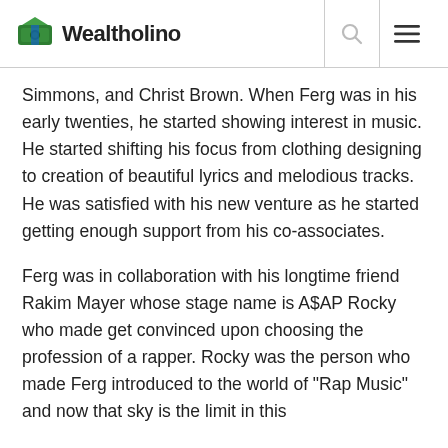Wealtholino
Simmons, and Christ Brown. When Ferg was in his early twenties, he started showing interest in music. He started shifting his focus from clothing designing to creation of beautiful lyrics and melodious tracks. He was satisfied with his new venture as he started getting enough support from his co-associates.
Ferg was in collaboration with his longtime friend Rakim Mayer whose stage name is A$AP Rocky who made get convinced upon choosing the profession of a rapper. Rocky was the person who made Ferg introduced to the world of "Rap Music" and now that sky is the limit in this